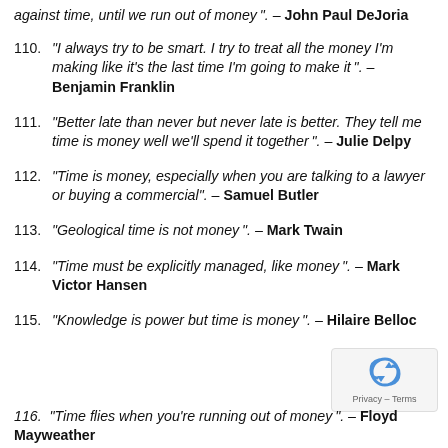(partial top) against time, until we run out of money". – John Paul DeJoria
110. "I always try to be smart. I try to treat all the money I'm making like it's the last time I'm going to make it". – Benjamin Franklin
111. "Better late than never but never late is better. They tell me time is money well we'll spend it together". – Julie Delpy
112. "Time is money, especially when you are talking to a lawyer or buying a commercial". – Samuel Butler
113. "Geological time is not money". – Mark Twain
114. "Time must be explicitly managed, like money". – Mark Victor Hansen
115. "Knowledge is power but time is money". – Hilaire Belloc
116. (partial bottom) "Time flies when you're running out of money". – Floyd Mayweather